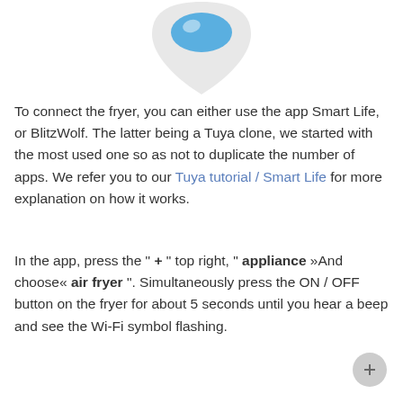[Figure (logo): Smart Life / Alexa-style app logo icon — teardrop/shield shape in light grey with a blue eye-like oval at the top]
To connect the fryer, you can either use the app Smart Life, or BlitzWolf. The latter being a Tuya clone, we started with the most used one so as not to duplicate the number of apps. We refer you to our Tuya tutorial / Smart Life for more explanation on how it works.
In the app, press the " + " top right, " appliance »And choose« air fryer ". Simultaneously press the ON / OFF button on the fryer for about 5 seconds until you hear a beep and see the Wi-Fi symbol flashing.